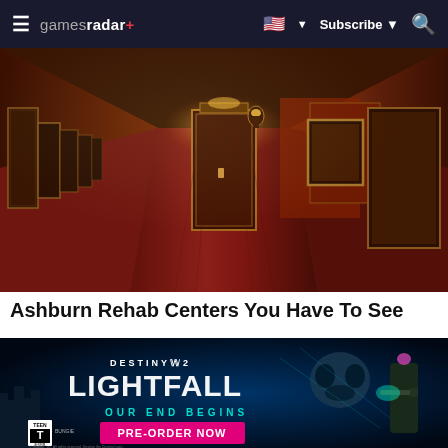gamesradar+ | Subscribe | Search
[Figure (photo): A red-carpeted hotel/building hallway with ornate dark wood doors, warm amber lighting, and red textured walls with framed artwork.]
Ashburn Rehab Centers You Have To See
[Figure (photo): Destiny 2: Lightfall advertisement banner. Text reads: DESTINY 2 LIGHTFALL, OUR END BEGINS, PRE-ORDER NOW. Features a soldier character with glowing weapons and an alien skull backdrop in neon blues and magentas.]